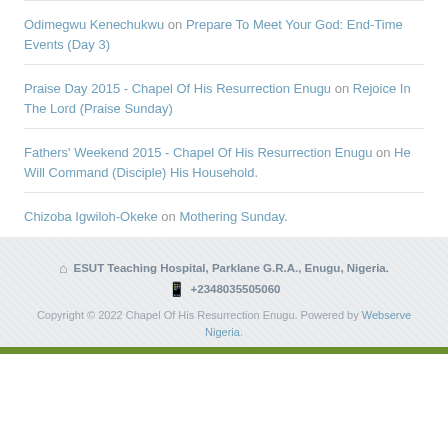Odimegwu Kenechukwu on Prepare To Meet Your God: End-Time Events (Day 3)
Praise Day 2015 - Chapel Of His Resurrection Enugu on Rejoice In The Lord (Praise Sunday)
Fathers' Weekend 2015 - Chapel Of His Resurrection Enugu on He Will Command (Disciple) His Household.
Chizoba Igwiloh-Okeke on Mothering Sunday.
ESUT Teaching Hospital, Parklane G.R.A., Enugu, Nigeria. +2348035505060 Copyright © 2022 Chapel Of His Resurrection Enugu. Powered by Webserve Nigeria.